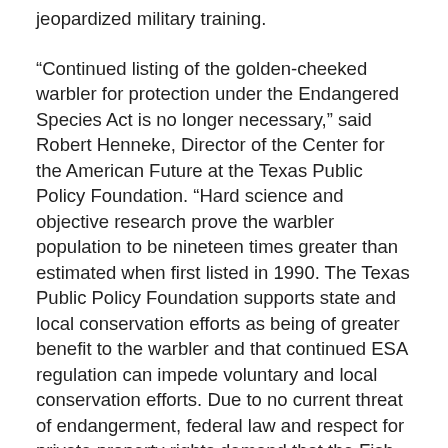jeopardized military training.
“Continued listing of the golden-cheeked warbler for protection under the Endangered Species Act is no longer necessary,” said Robert Henneke, Director of the Center for the American Future at the Texas Public Policy Foundation. “Hard science and objective research prove the warbler population to be nineteen times greater than estimated when first listed in 1990. The Texas Public Policy Foundation supports state and local conservation efforts as being of greater benefit to the warbler and that continued ESA regulation can impede voluntary and local conservation efforts. Due to no current threat of endangerment, federal law and respect for private property rights demand that the Fish and Wildlife Service grant the coalition’s Petition to delist the golden-cheeked warbler.”
Recent studies, including one by Texas A&M University, show that the amount of warbler habitat is five times larger and that the warbler population is roughly 19 times greater than the earlier FWS estimate. As a result, the three